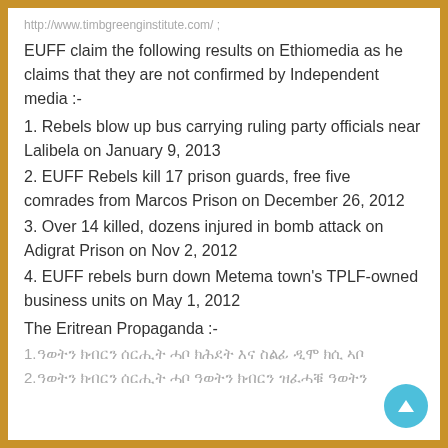http://www.timbgreenginstitute.com/ ;
EUFF claim the following results on Ethiomedia as he claims that they are not confirmed by Independent media :-
1. Rebels blow up bus carrying ruling party officials near Lalibela on January 9, 2013
2. EUFF Rebels kill 17 prison guards, free five comrades from Marcos Prison on December 26, 2012
3. Over 14 killed, dozens injured in bomb attack on Adigrat Prison on Nov 2, 2012
4. EUFF rebels burn down Metema town's TPLF-owned business units on May 1, 2012
The Eritrean Propaganda :-
1.ዓወትን ክብርን ሰርሒት ሓቦ ክሕደት እና ስልፊ ዲሞ ክሲ ኣቦ
2.ዓወትን ክብርን ሰርሒት ሓቦ ዓወትን ክብርን ዝፈሓቑ ዓወትን